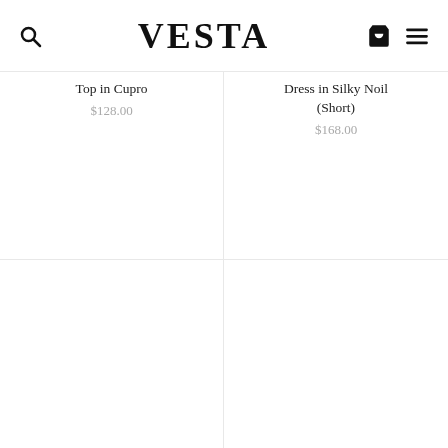VESTA
Top in Cupro
$128.00
Dress in Silky Noil (Short)
$168.00
[Figure (other): Empty product image area for second row left]
[Figure (other): Empty product image area for second row right]